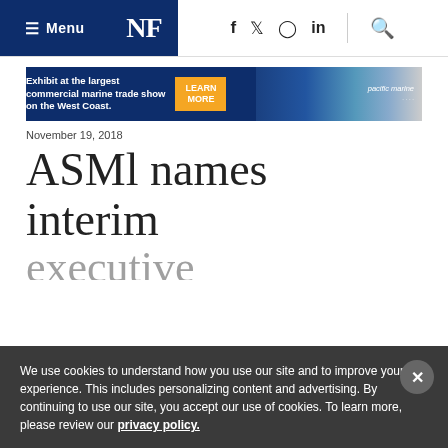≡ Menu | NF | f Twitter Instagram in | Search
[Figure (infographic): Ad banner: Exhibit at the largest commercial marine trade show on the West Coast. LEARN MORE button. Pacific marine trade show imagery.]
November 19, 2018
ASMl names interim
We use cookies to understand how you use our site and to improve your experience. This includes personalizing content and advertising. By continuing to use our site, you accept our use of cookies. To learn more, please review our privacy policy.